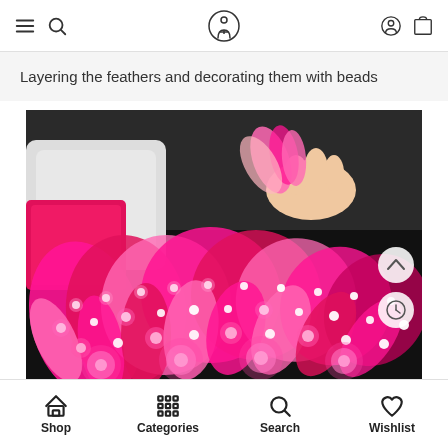Navigation bar with menu, search, logo, profile, and cart icons
Layering the feathers and decorating them with beads
[Figure (photo): Photo of pink feathers with LED lights glowing, and a hand holding pink fluffy feathers near a pink bag/accessory, shot from above on a dark background]
Shop | Categories | Search | Wishlist